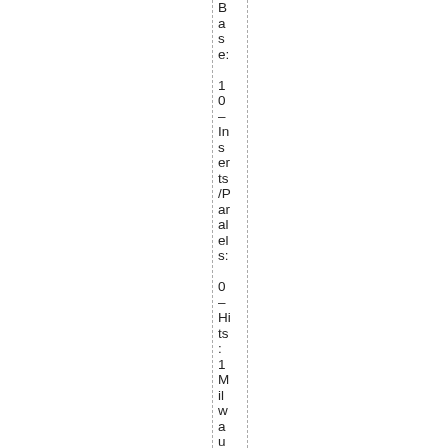Base: 10 – Inserts/Parallels: 0 – Hits: 1 Milwaukee